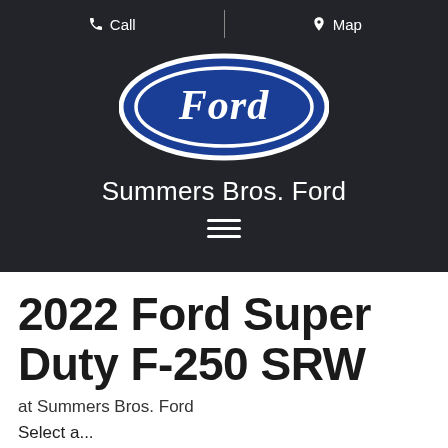Call | Map
[Figure (logo): Ford oval blue logo with white script Ford text]
Summers Bros. Ford
[Figure (infographic): Hamburger menu icon — three horizontal white lines]
2022 Ford Super Duty F-250 SRW
at Summers Bros. Ford
Select a...